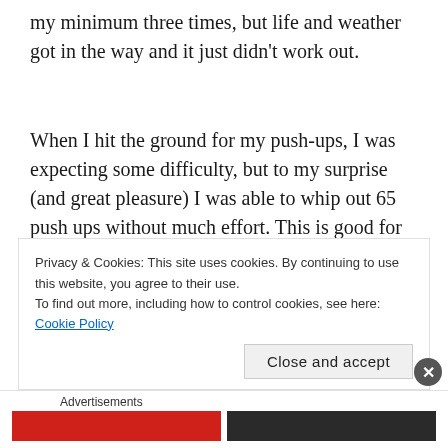my minimum three times, but life and weather got in the way and it just didn't work out.
When I hit the ground for my push-ups, I was expecting some difficulty, but to my surprise (and great pleasure) I was able to whip out 65 push ups without much effort. This is good for
Privacy & Cookies: This site uses cookies. By continuing to use this website, you agree to their use.
To find out more, including how to control cookies, see here:
Cookie Policy
Close and accept
Advertisements